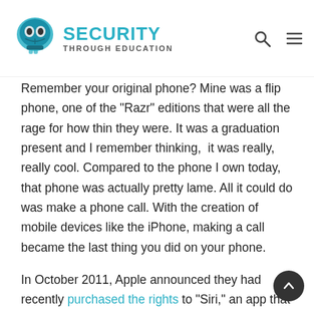Security Through Education
Remember your original phone? Mine was a flip phone, one of the “Razr” editions that were all the rage for how thin they were. It was a graduation present and I remember thinking,  it was really, really cool. Compared to the phone I own today, that phone was actually pretty lame. All it could do was make a phone call. With the creation of mobile devices like the iPhone, making a call became the last thing you did on your phone.
In October 2011, Apple announced they had recently purchased the rights to “Siri,” an app that was created by a 24-person startup in 2010. Siri, a virtual assistant would help you with your daily needs. And it even has a fun, dry sense of humor (for proof just ask Siri what 0 divided by 0 is…) In fact, Siri started a wave of new devices that could respond to you just by the sound of your voice. Microsoft…